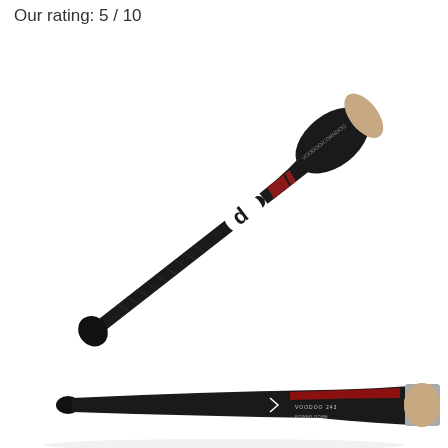Our rating: 5 / 10
[Figure (photo): A DeMarini baseball bat shown at a diagonal angle (handle at bottom-left, barrel at top-right) with a black finish, tan/natural wood color at the barrel end, a white DeMarini logo, and red accent graphics. Below it is a second view of the same bat shown more horizontally, displaying the barrel end with a tan/cream colored end cap. Both bats are on a white background.]